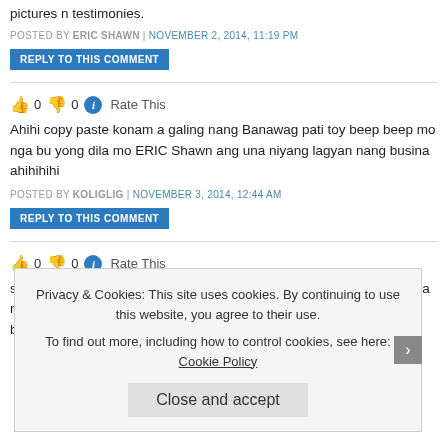pictures n testimonies.
POSTED BY ERIC SHAWN | NOVEMBER 2, 2014, 11:19 PM
REPLY TO THIS COMMENT
👍 0 👎 0 ℹ Rate This
Ahihi copy paste konam a galing nang Banawag pati toy beep beep mo nga bu... yong dila mo ERIC Shawn ang una niyang lagyan nang busina ahihihihi
POSTED BY KOLIGLIG | NOVEMBER 3, 2014, 12:44 AM
REPLY TO THIS COMMENT
👍 0 👎 0 ℹ Rate This
sigoro sa personal naka space suit ka ERIC SHAWN reading ready ka nang pa... mong kalimotan para pagkita kayo ni Chito sa buwan businahan mo siya ahihihi
Privacy & Cookies: This site uses cookies. By continuing to use this website, you agree to their use. To find out more, including how to control cookies, see here: Cookie Policy
Close and accept